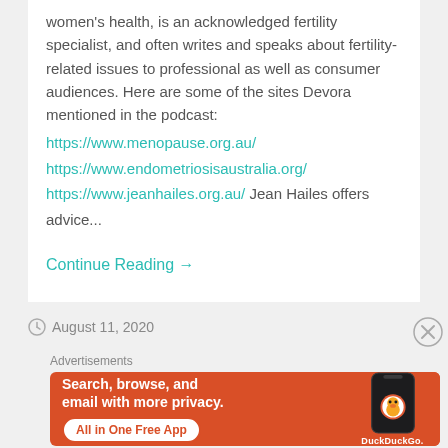women's health, is an acknowledged fertility specialist, and often writes and speaks about fertility-related issues to professional as well as consumer audiences. Here are some of the sites Devora mentioned in the podcast:
https://www.menopause.org.au/
https://www.endometriosisaustralia.org/
https://www.jeanhailes.org.au/  Jean Hailes offers advice...
Continue Reading →
August 11, 2020
Advertisements
[Figure (screenshot): DuckDuckGo advertisement banner with orange background. Text reads: Search, browse, and email with more privacy. All in One Free App. Shows a phone with DuckDuckGo logo.]